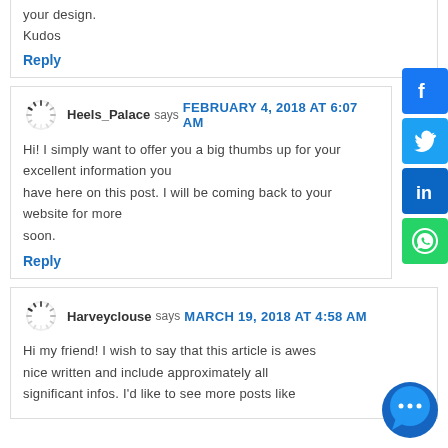your design.
Kudos
Reply
Heels_Palace says FEBRUARY 4, 2018 AT 6:07 AM
Hi! I simply want to offer you a big thumbs up for your excellent information you have here on this post. I will be coming back to your website for more soon.
Reply
Harveyclouse says MARCH 19, 2018 AT 4:58 AM
Hi my friend! I wish to say that this article is awesome, nice written and include approximately all significant infos. I'd like to see more posts like